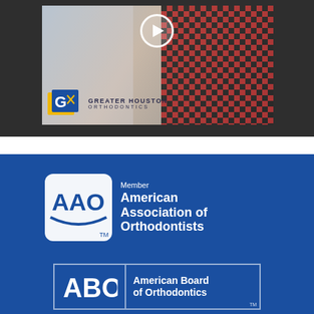[Figure (screenshot): Video thumbnail showing a dental/orthodontic clinical scene with a patient wearing a red plaid shirt and a dental professional. A play button is visible at the top center. The Greater Houston Orthodontics logo appears at the bottom left of the video frame.]
[Figure (logo): AAO Member logo — American Association of Orthodontists badge in white on a blue background, with text 'Member American Association of Orthodontists']
[Figure (logo): ABO logo — American Board of Orthodontics badge in white on blue background with text 'American Board of Orthodontics']